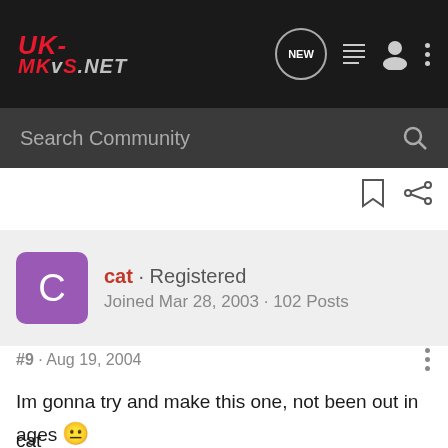UK-MKvS.NET
Search Community
cat · Registered
Joined Mar 28, 2003 · 102 Posts
#9 · Aug 19, 2004
Im gonna try and make this one, not been out in ages 😐
cat